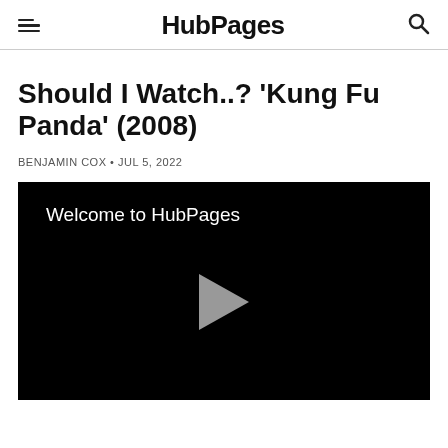HubPages
Should I Watch..? 'Kung Fu Panda' (2008)
BENJAMIN COX • JUL 5, 2022
[Figure (screenshot): Video player with black background showing 'Welcome to HubPages' text and a play button triangle in the center]